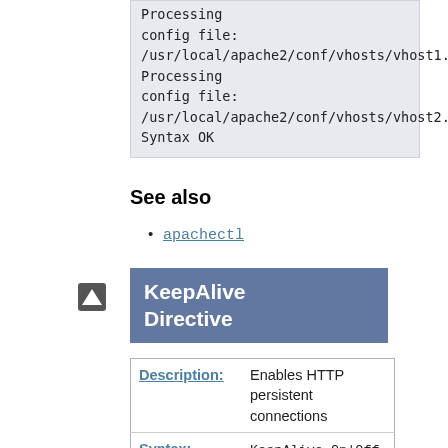Processing config file: /usr/local/apache2/conf/vhosts/vhost1.conf
Processing config file: /usr/local/apache2/conf/vhosts/vhost2.conf
Syntax OK
See also
apachectl
KeepAlive Directive
|  |  |
| --- | --- |
| Description: | Enables HTTP persistent connections |
| Syntax: | KeepAlive On|Off |
| Default: | KeepAlive On |
| Context: | server config, |